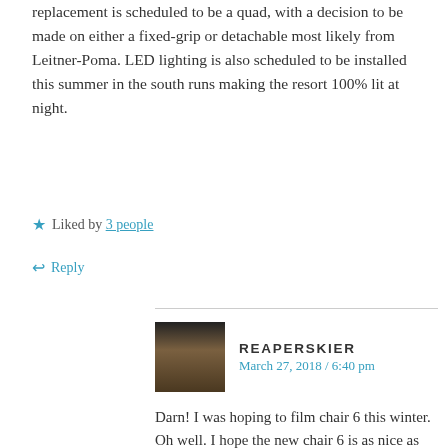replacement is scheduled to be a quad, with a decision to be made on either a fixed-grip or detachable most likely from Leitner-Poma. LED lighting is also scheduled to be installed this summer in the south runs making the resort 100% lit at night.
★ Liked by 3 people
↩ Reply
REAPERSKIER
March 27, 2018 / 6:40 pm
Darn! I was hoping to film chair 6 this winter. Oh well. I hope the new chair 6 is as nice as the old one.
★ Like